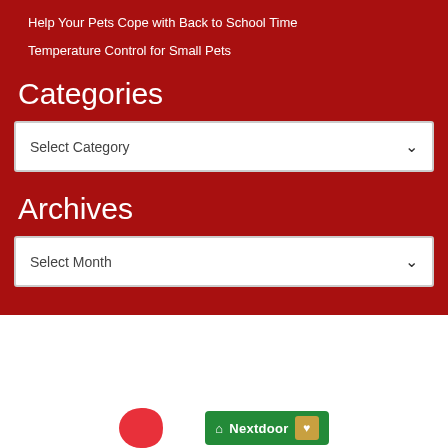Help Your Pets Cope with Back to School Time
Temperature Control for Small Pets
Categories
Select Category
Archives
Select Month
[Figure (logo): Partial red logo (RD shape) at bottom left]
[Figure (logo): Nextdoor badge with house icon and heart symbol at bottom right]